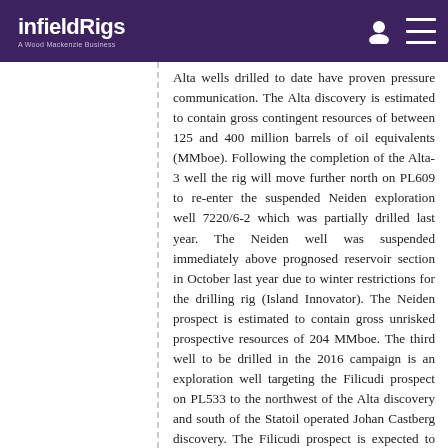infieldRigs — A Wood Mackenzie Business
Alta wells drilled to date have proven pressure communication. The Alta discovery is estimated to contain gross contingent resources of between 125 and 400 million barrels of oil equivalents (MMboe). Following the completion of the Alta-3 well the rig will move further north on PL609 to re-enter the suspended Neiden exploration well 7220/6-2 which was partially drilled last year. The Neiden well was suspended immediately above prognosed reservoir section in October last year due to winter restrictions for the drilling rig (Island Innovator). The Neiden prospect is estimated to contain gross unrisked prospective resources of 204 MMboe. The third well to be drilled in the 2016 campaign is an exploration well targeting the Filicudi prospect on PL533 to the northwest of the Alta discovery and south of the Statoil operated Johan Castberg discovery. The Filicudi prospect is expected to contain Jurassic sandstone reservoir analogous to the Johan Castberg discovery. The Filicudi prospect is estimated to contain gross